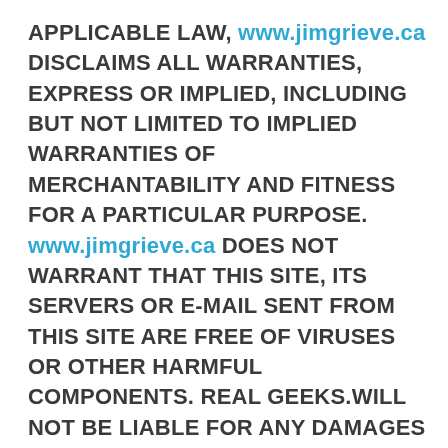APPLICABLE LAW, www.jimgrieve.ca DISCLAIMS ALL WARRANTIES, EXPRESS OR IMPLIED, INCLUDING BUT NOT LIMITED TO IMPLIED WARRANTIES OF MERCHANTABILITY AND FITNESS FOR A PARTICULAR PURPOSE. www.jimgrieve.ca DOES NOT WARRANT THAT THIS SITE, ITS SERVERS OR E-MAIL SENT FROM THIS SITE ARE FREE OF VIRUSES OR OTHER HARMFUL COMPONENTS. REAL GEEKS.WILL NOT BE LIABLE FOR ANY DAMAGES OF ANY KIND ARISING FROM THE USE OF THIS SITE, INCLUDING, BUT NOT LIMITED TO, DIRECT, INDIRECT, INCIDENTAL, PUNITIVE AND CONSEQUENTIAL DAMAGES, EVEN IF www.jimgrieve.ca HAS BEEN